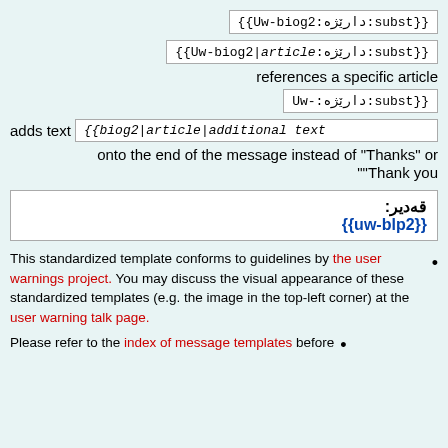{{Uw-biog2:دارێژه:subst}}
{{Uw-biog2|article:دارێژه:subst}}
references a specific article
Uw-:دارێژه:subst}}
adds text  {{biog2|article|additional text onto the end of the message instead of "Thanks" or ""Thank you
| قەدیر: | {{uw-blp2}} |
This standardized template conforms to guidelines by the user warnings project. You may discuss the visual appearance of these standardized templates (e.g. the image in the top-left corner) at the user warning talk page.
Please refer to the index of message templates before